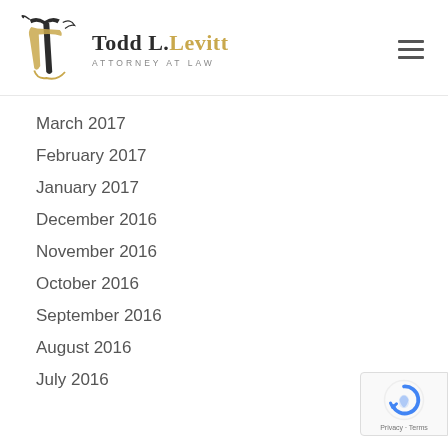Todd L. Levitt – Attorney at Law logo and navigation
March 2017
February 2017
January 2017
December 2016
November 2016
October 2016
September 2016
August 2016
July 2016